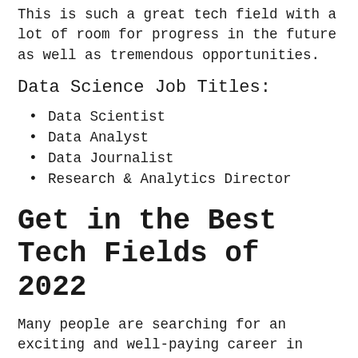This is such a great tech field with a lot of room for progress in the future as well as tremendous opportunities.
Data Science Job Titles:
Data Scientist
Data Analyst
Data Journalist
Research & Analytics Director
Get in the Best Tech Fields of 2022
Many people are searching for an exciting and well-paying career in